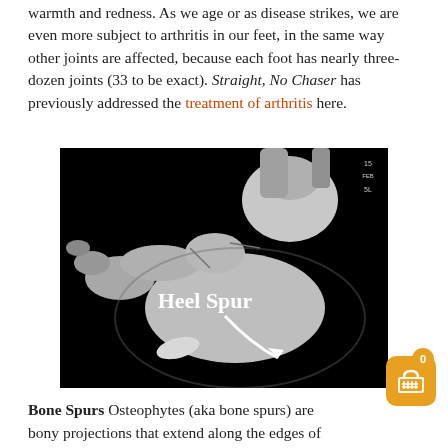warmth and redness. As we age or as disease strikes, we are even more subject to arthritis in our feet, in the same way other joints are affected, because each foot has nearly three-dozen joints (33 to be exact). Straight, No Chaser has previously addressed the treatment of arthritis here.
[Figure (photo): X-ray image of a foot showing a heel spur, with white bold text 'Heel Spur' and a white arrow pointing to the spur at the bottom of the heel bone. A date label '15 FEB 5L' is visible in the top right corner of the x-ray.]
Bone Spurs Osteophytes (aka bone spurs) are bony projections that extend along the edges of